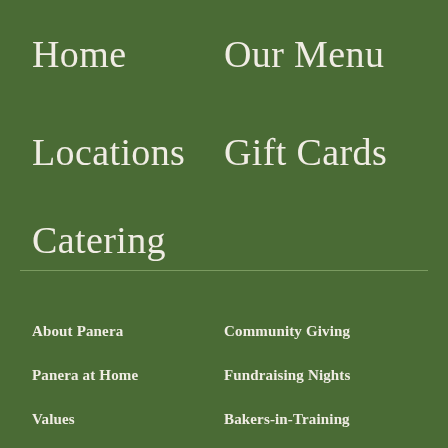Home
Our Menu
Locations
Gift Cards
Catering
About Panera
Community Giving
Panera at Home
Fundraising Nights
Values
Bakers-in-Training